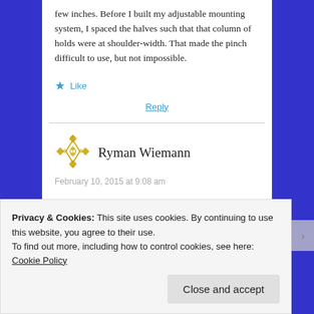few inches. Before I built my adjustable mounting system, I spaced the halves such that that column of holds were at shoulder-width. That made the pinch difficult to use, but not impossible.
★ Like
Reply
Ryman Wiemann
February 10, 2015 at 9:08 am
Privacy & Cookies: This site uses cookies. By continuing to use this website, you agree to their use.
To find out more, including how to control cookies, see here: Cookie Policy